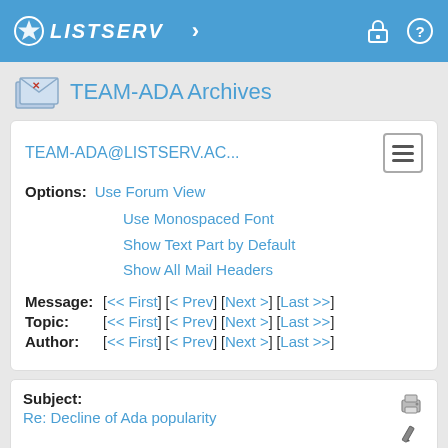LISTSERV
TEAM-ADA Archives
TEAM-ADA@LISTSERV.AC...
Options: Use Forum View
Use Monospaced Font
Show Text Part by Default
Show All Mail Headers
Message: [<< First] [< Prev] [Next >] [Last >>]
Topic: [<< First] [< Prev] [Next >] [Last >>]
Author: [<< First] [< Prev] [Next >] [Last >>]
Subject: Re: Decline of Ada popularity
From: Stephen Leake <[log in to unmask]>